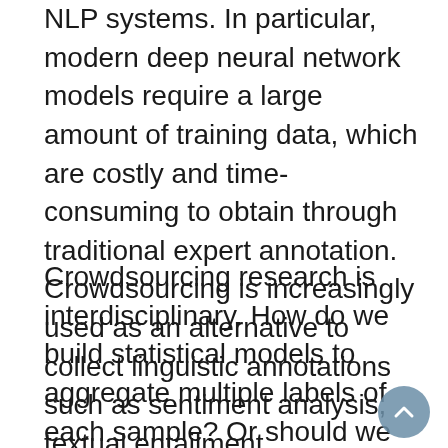NLP systems. In particular, modern deep neural network models require a large amount of training data, which are costly and time-consuming to obtain through traditional expert annotation. Crowdsourcing is increasingly used as an alternative to collect linguistic annotations such as sentiment analysis, textual entailment, coreference, lexical semantics etc.
Crowdsourcing research is interdisciplinary. How do we build statistical models to aggregate multiple labels of each sample? Or should we aggregate the "crowd wisdom" to one gold label at all? In terms of human-computer interaction, how do we design intuitive and motivating tasks (e.g. Games with a Purpose). From the cognitive point of view, what is the effect of individual differences in crowdsourcing? In addition, linguistic annotation is particularly complex